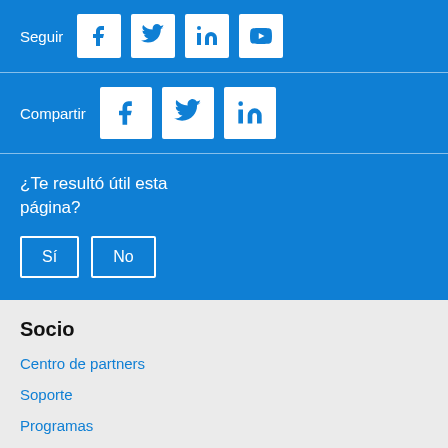Seguir
[Figure (infographic): Social media follow icons: Facebook, Twitter, LinkedIn, YouTube in white boxes on blue background]
Compartir
[Figure (infographic): Social media share icons: Facebook, Twitter, LinkedIn in white boxes on blue background]
¿Te resultó útil esta página?
Sí
No
Socio
Centro de partners
Soporte
Programas